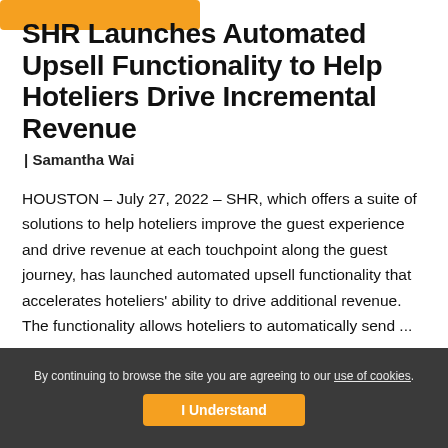SHR Launches Automated Upsell Functionality to Help Hoteliers Drive Incremental Revenue
| Samantha Wai
HOUSTON – July 27, 2022 – SHR, which offers a suite of solutions to help hoteliers improve the guest experience and drive revenue at each touchpoint along the guest journey, has launched automated upsell functionality that accelerates hoteliers' ability to drive additional revenue.  The functionality allows hoteliers to automatically send ...
By continuing to browse the site you are agreeing to our use of cookies.
I Understand